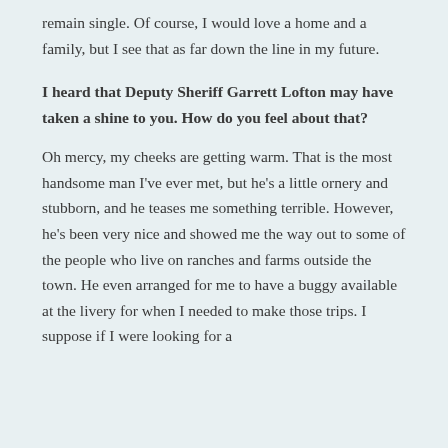remain single. Of course, I would love a home and a family, but I see that as far down the line in my future.
I heard that Deputy Sheriff Garrett Lofton may have taken a shine to you. How do you feel about that?
Oh mercy, my cheeks are getting warm. That is the most handsome man I've ever met, but he's a little ornery and stubborn, and he teases me something terrible. However, he's been very nice and showed me the way out to some of the people who live on ranches and farms outside the town. He even arranged for me to have a buggy available at the livery for when I needed to make those trips. I suppose if I were looking for a